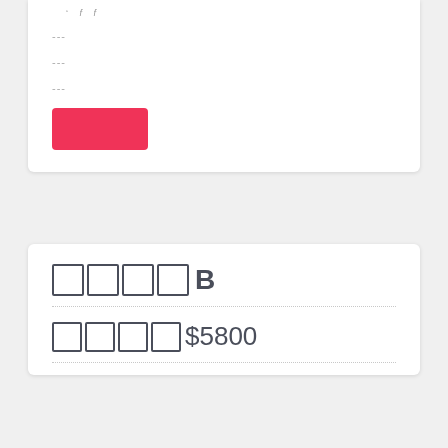---
---
---
[Figure (other): Red button/rectangle UI element]
□□□□ B
□□□□$5800